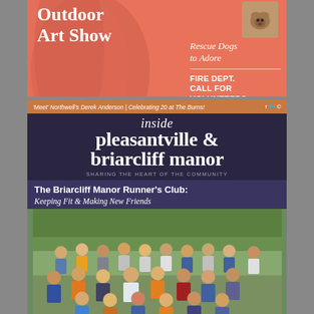[Figure (photo): Magazine cover top section with coral/salmon background showing 'Outdoor Art Show' title in white bold text, with inset dog photo top right, rescue dogs text, and Fire Dept. call for volunteers text]
[Figure (photo): Inside Pleasantville & Briarcliff Manor magazine cover with dark navy/purple background. Orange top banner reads 'Meet Northwell's Derek Anderson | Celebrating 20 at The Burns!' Large white serif masthead reads 'inside pleasantville & briarcliff manor' with tagline 'SHARING THE HEART OF THE COMMUNITY'. Story header: 'The Briarcliff Manor Runner's Club: Keeping Fit & Making New Friends'. Group photo of runners in a park below.]